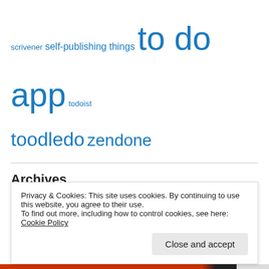scrivener self-publishing things to do app todoist toodledo zendone
Archives
August 2019
June 2019
January 2019
November 2018
January 2018
December 2017
Privacy & Cookies: This site uses cookies. By continuing to use this website, you agree to their use.
To find out more, including how to control cookies, see here: Cookie Policy